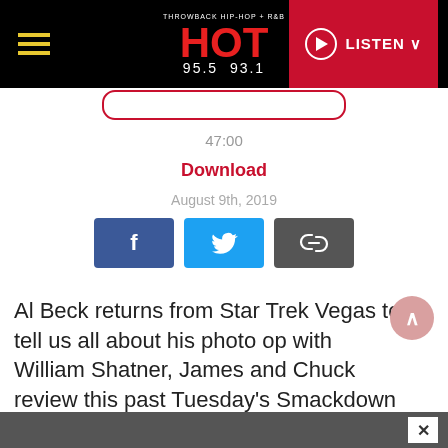HOT 95.5 93.1 — THROWBACK HIP-HOP + R&B — LISTEN
47:00
Download
August 9th, 2019
[Figure (other): Social share buttons: Facebook, Twitter, and Copy Link]
Al Beck returns from Star Trek Vegas to tell us all about his photo op with William Shatner, James and Chuck review this past Tuesday's Smackdown Live from the Little Ceasers